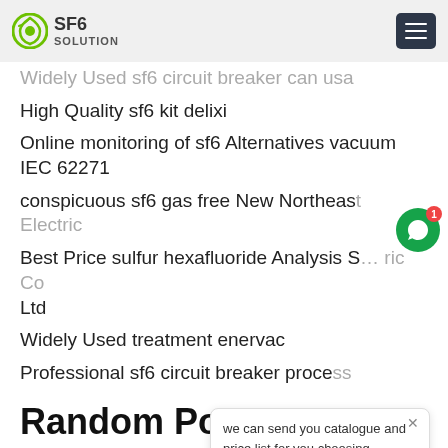SF6 SOLUTION
Widely Used sf6 circuit breaker can usa
High Quality sf6 kit delixi
Online monitoring of sf6 Alternatives vacuum IEC 62271
conspicuous sf6 gas free New Northeast Electric
Best Price sulfur hexafluoride Analysis S... ric Co Ltd
Widely Used treatment enervac
Professional sf6 circuit breaker process
Random Posts:
Application Of Equipment Chongqing Gold Mechanical
Newly Designed sf6 mix calibraion btb
Disposal of sf6 gas plant btb
Best Price Insulated gas filter Anhui Huaikai
Process Flow Chart sf6 Alternatives kit CHANGGAO
leading sf6 emissions Siemens Ltd